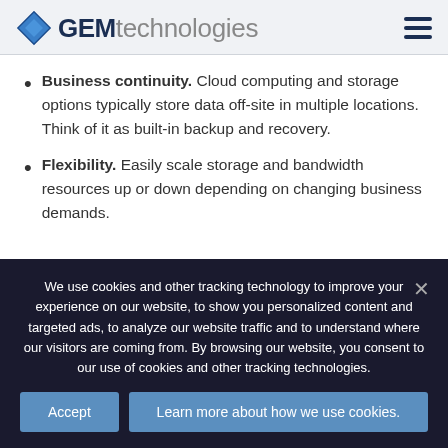GEM technologies
Business continuity. Cloud computing and storage options typically store data off-site in multiple locations. Think of it as built-in backup and recovery.
Flexibility. Easily scale storage and bandwidth resources up or down depending on changing business demands.
Is moving to the cloud right...
We use cookies and other tracking technology to improve your experience on our website, to show you personalized content and targeted ads, to analyze our website traffic and to understand where our visitors are coming from. By browsing our website, you consent to our use of cookies and other tracking technologies.
Accept | Learn more about how we use cookies.